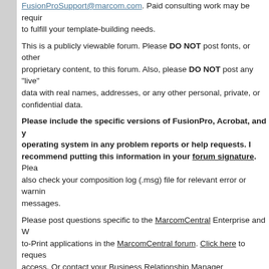FusionProSupport@marcom.com. Paid consulting work may be required to fulfill your template-building needs.
This is a publicly viewable forum. Please DO NOT post fonts, or other proprietary content, to this forum. Also, please DO NOT post any "live" data with real names, addresses, or any other personal, private, or confidential data.
Please include the specific versions of FusionPro, Acrobat, and your operating system in any problem reports or help requests. I recommend putting this information in your forum signature. Please also check your composition log (.msg) file for relevant error or warning messages.
Please post questions specific to the MarcomCentral Enterprise and Web-to-Print applications in the MarcomCentral forum. Click here to request access. Or contact your Business Relationship Manager (BRM/CPM) for assistance.
Please direct any questions specific to EFI's Digital StoreFront (DSF) to EFI support.
How To Ask Questions The Smart Way
The correct spellings are JavaScript, FusionPro, and MarcomCentral (each with two capital letters and no spaces). Acceptable abbreviations are JS, FP, and MC (or MCC). There is no "S" at the end of "Expression" or "Printable"! The name of the product is FusionPro, not "Fusion". "Java" is not is not the same as JavaScript.